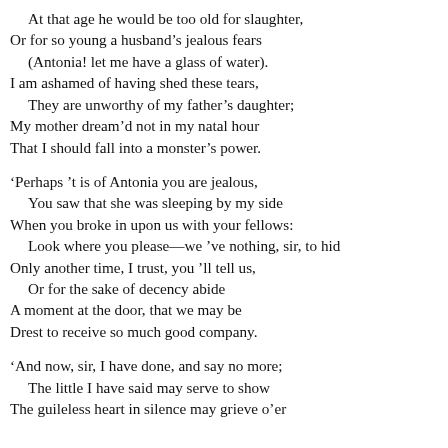At that age he would be too old for slaughter,
Or for so young a husband’s jealous fears
(Antonia! let me have a glass of water).
I am ashamed of having shed these tears,
  They are unworthy of my father’s daughter;
My mother dream’d not in my natal hour
That I should fall into a monster’s power.

‘Perhaps ’t is of Antonia you are jealous,
  You saw that she was sleeping by my side
When you broke in upon us with your fellows:
  Look where you please—we ’ve nothing, sir, to hid
Only another time, I trust, you ’ll tell us,
  Or for the sake of decency abide
A moment at the door, that we may be
Drest to receive so much good company.

‘And now, sir, I have done, and say no more;
  The little I have said may serve to show
The guileless heart in silence may grieve o’er